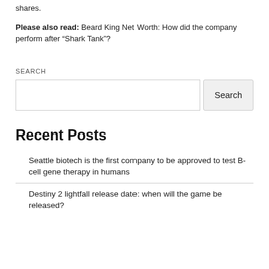shares.
Please also read: Beard King Net Worth: How did the company perform after “Shark Tank”?
SEARCH
[Figure (other): Search input box with Search button]
Recent Posts
Seattle biotech is the first company to be approved to test B-cell gene therapy in humans
Destiny 2 lightfall release date: when will the game be released?